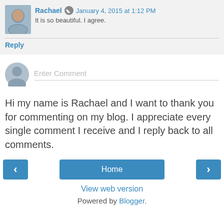Rachael  January 4, 2015 at 1:12 PM
It is so beautiful. I agree.
Reply
[Figure (other): Enter Comment input field with generic user avatar]
Hi my name is Rachael and I want to thank you for commenting on my blog. I appreciate every single comment I receive and I reply back to all comments.
[Figure (other): Navigation buttons: left arrow, Home, right arrow]
View web version
Powered by Blogger.